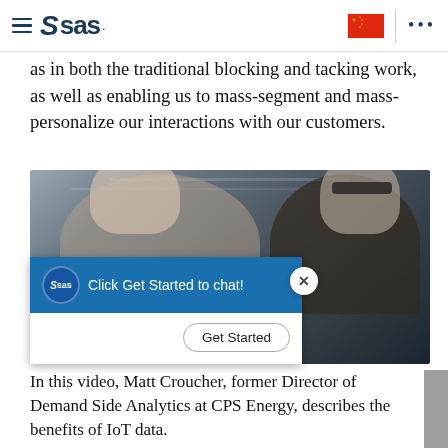SAS logo navigation bar with hamburger menu, Chinese flag, and dots menu
as in both the traditional blocking and tacking work, as well as enabling us to mass-segment and mass-personalize our interactions with our customers.
[Figure (screenshot): Video thumbnail showing two industrial workers (one wearing a hard hat) looking at a tablet device in a factory setting. A chat widget overlay is visible in the lower portion showing the SAS logo, text 'Click Get Started to chat!', a close (X) button, and a 'Get Started' button.]
In this video, Matt Croucher, former Director of Demand Side Analytics at CPS Energy, describes the benefits of IoT data.